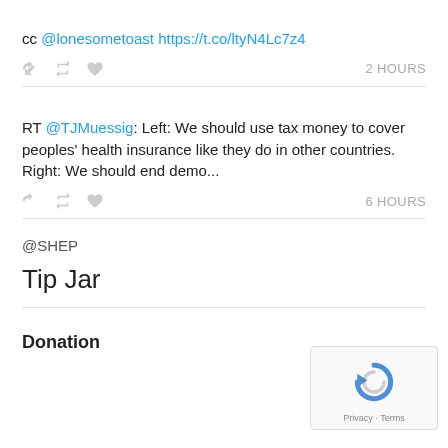cc @lonesometoast https://t.co/ltyN4Lc7z4
2 HOURS
RT @TJMuessig: Left: We should use tax money to cover peoples' health insurance like they do in other countries. Right: We should end demo...
6 HOURS
@SHEP
Tip Jar
Donation